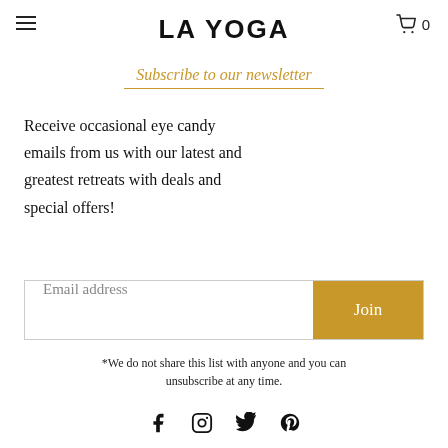LA YOGA
Subscribe to our newsletter
Receive occasional eye candy emails from us with our latest and greatest retreats with deals and special offers!
Email address  Join
*We do not share this list with anyone and you can unsubscribe at any time.